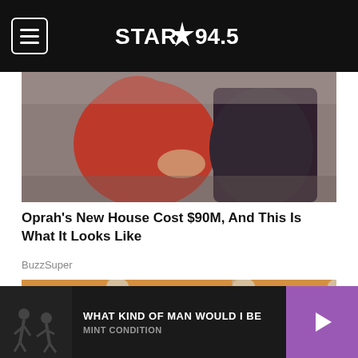STAR 94.5 — navigation bar with menu button and logo
[Figure (photo): Two people embracing — person in red top and person in dark suit jacket, partial view of their torsos]
Oprah's New House Cost $90M, And This Is What It Looks Like
BuzzSuper
[Figure (photo): Close-up of brown eggs in an open cardboard egg carton, filling the frame]
WHAT KIND OF MAN WOULD I BE — MINT CONDITION (music player bar)